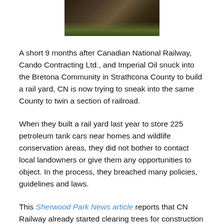[Figure (photo): Photograph of a dark brown railway freight car/tank car with dry grass or vegetation in the foreground, cropped at top of page]
A short 9 months after Canadian National Railway, Cando Contracting Ltd., and Imperial Oil snuck into the Bretona Community in Strathcona County to build a rail yard, CN is now trying to sneak into the same County to twin a section of railroad.
When they built a rail yard last year to store 225 petroleum tank cars near homes and wildlife conservation areas, they did not bother to contact local landowners or give them any opportunities to object. In the process, they breached many policies, guidelines and laws.
This Sherwood Park News article reports that CN Railway already started clearing trees for construction of its twinned track between Ardrossan and Uncas in Strathcona